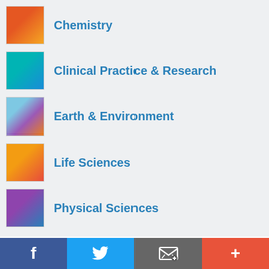Chemistry
Clinical Practice & Research
Earth & Environment
Life Sciences
Physical Sciences
Nature Portfolio websites
NPG Asia Materials
Nature China